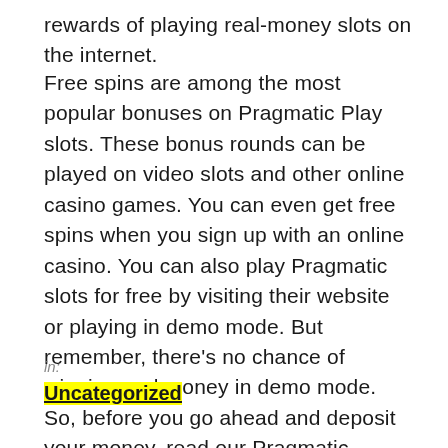rewards of playing real-money slots on the internet.
Free spins are among the most popular bonuses on Pragmatic Play slots. These bonus rounds can be played on video slots and other online casino games. You can even get free spins when you sign up with an online casino. You can also play Pragmatic slots for free by visiting their website or playing in demo mode. But remember, there's no chance of winning real money in demo mode. So, before you go ahead and deposit your money, read our Pragmatic review!
in:
Uncategorized